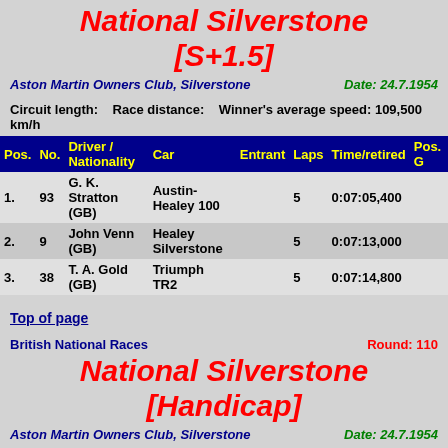National Silverstone [S+1.5]
Aston Martin Owners Club, Silverstone    Date: 24.7.1954
Circuit length:    Race distance:    Winner's average speed: 109,500 km/h
| Pos. | No. | Driver / Nationality | Car | Entrant | Laps | Time/retired | Pos. G |
| --- | --- | --- | --- | --- | --- | --- | --- |
| 1. | 93 | G. K. Stratton (GB) | Austin-Healey 100 |  | 5 | 0:07:05,400 |  |
| 2. | 9 | John Venn (GB) | Healey Silverstone |  | 5 | 0:07:13,000 |  |
| 3. | 38 | T. A. Gold (GB) | Triumph TR2 |  | 5 | 0:07:14,800 |  |
Top of page
British National Races    Round: 110
National Silverstone [Handicap]
Aston Martin Owners Club, Silverstone    Date: 24.7.1954